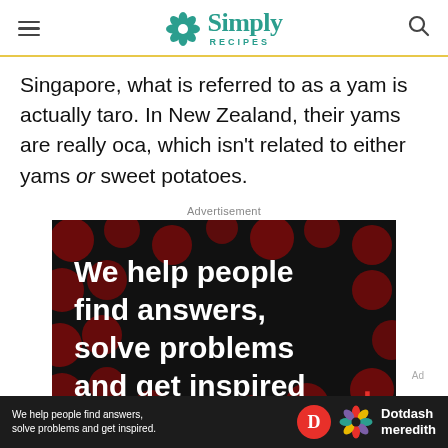Simply Recipes
Singapore, what is referred to as a yam is actually taro. In New Zealand, their yams are really oca, which isn't related to either yams or sweet potatoes.
Advertisement
[Figure (infographic): Dark advertisement banner with red polka dot background showing white bold text: 'We help people find answers, solve problems and get inspired.' with a red period. Bottom shows 'LEARN MORE' text.]
[Figure (infographic): Bottom banner ad: black background with white text 'We help people find answers, solve problems and get inspired.' alongside a red D icon and Dotdash Meredith flower logo with brand name.]